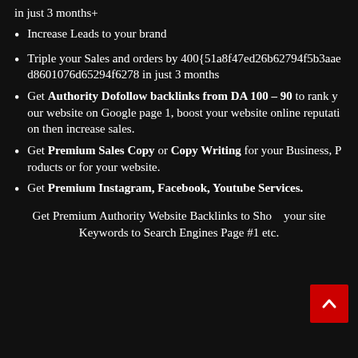in just 3 months+
Increase Leads to your brand
Triple your Sales and orders by 400{51a8f47ed26b62794f5b3aaed8601076d65294f6278 in just 3 months
Get Authority Dofollow backlinks from DA 100 – 90 to rank your website on Google page 1, boost your website online reputation then increase sales.
Get Premium Sales Copy or Copy Writing for your Business, Products or for your website.
Get Premium Instagram, Facebook, Youtube Services.
Get Premium Authority Website Backlinks to Shoot your site Keywords to Search Engines Page #1 etc.